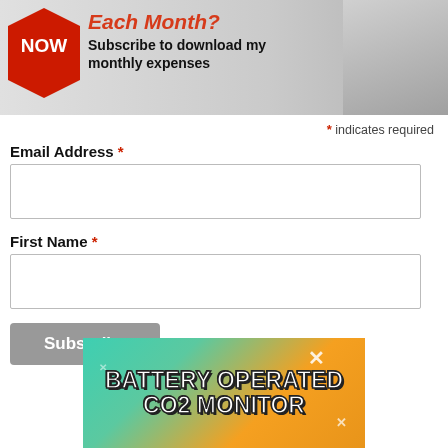[Figure (illustration): Top banner with red NOW badge/label on left, text reading 'Each Month? Subscribe to download my monthly expenses' in red/black bold font, and photo of car/money/receipt on right side]
* indicates required
Email Address *
First Name *
[Figure (illustration): Advertisement banner for Battery Operated CO2 Monitor with teal and orange background, white bold text with dark outline]
BATTERY OPERATED CO2 MONITOR